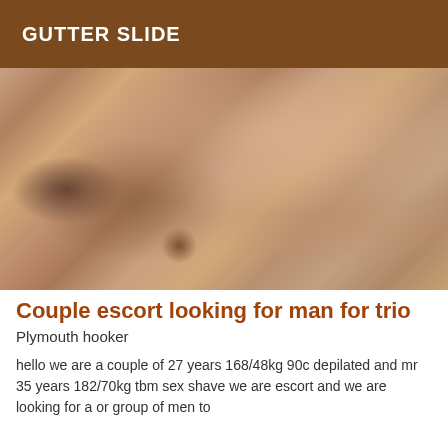GUTTER SLIDE
[Figure (photo): Close-up photo of a person's torso/back, indoor low-light setting]
Couple escort looking for man for trio
Plymouth hooker
hello we are a couple of 27 years 168/48kg 90c depilated and mr 35 years 182/70kg tbm sex shave we are escort and we are looking for a or group of men to